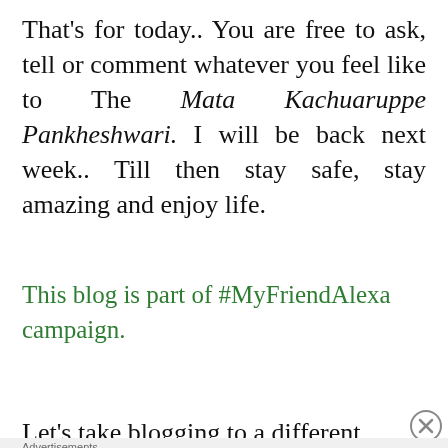That's for today.. You are free to ask, tell or comment whatever you feel like to The Mata Kachuaruppe Pankheshwari. I will be back next week.. Till then stay safe, stay amazing and enjoy life.
This blog is part of #MyFriendAlexa campaign.
Let's take blogging to a different
[Figure (other): DuckDuckGo advertisement banner: orange background with text 'Search, browse, and email with more privacy.' and button 'All in One Free App', with a phone image showing DuckDuckGo logo.]